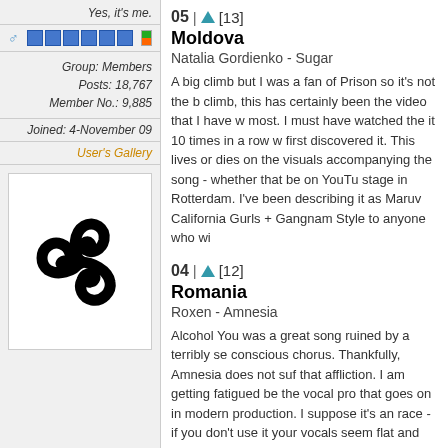Yes, it's me.
[Figure (infographic): User profile icons row: male gender symbol, blue reputation squares, Irish flag]
Group: Members
Posts: 18,767
Member No.: 9,885
Joined: 4-November 09
User's Gallery
[Figure (illustration): Black triskelion / triple spiral Celtic symbol avatar]
05 | ▲ [13]
Moldova
Natalia Gordienko - Sugar
A big climb but I was a fan of Prison so it's not the b... climb, this has certainly been the video that I have w... most. I must have watched the it 10 times in a row w... first discovered it. This lives or dies on the visuals accompanying the song - whether that be on YouTu... stage in Rotterdam. I've been describing it as Maruv... California Gurls + Gangnam Style to anyone who wi...
04 | ▲ [12]
Romania
Roxen - Amnesia
Alcohol You was a great song ruined by a terribly se... conscious chorus. Thankfully, Amnesia does not suf... that affliction. I am getting fatigued be the vocal pro... that goes on in modern production. I suppose it's an... race - if you don't use it your vocals seem flat and untextured.